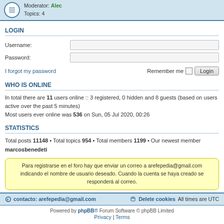Moderator: Alec
Topics: 4
LOGIN
Username:
Password:
I forgot my password    Remember me  Login
WHO IS ONLINE
In total there are 11 users online :: 3 registered, 0 hidden and 8 guests (based on users active over the past 5 minutes)
Most users ever online was 536 on Sun, 05 Jul 2020, 00:26
STATISTICS
Total posts 11148 • Total topics 954 • Total members 1199 • Our newest member marcosbenedeti
Para registrarse en el foro hay que enviar un correo a arefepedia@gmail.com indicando el nombre de usuario deseado. Cuando la cuenta se haya creado se responderá al correo.
contacto: arefepedia@gmail.com    Delete cookies  All times are UTC
Powered by phpBB® Forum Software © phpBB Limited
Privacy | Terms